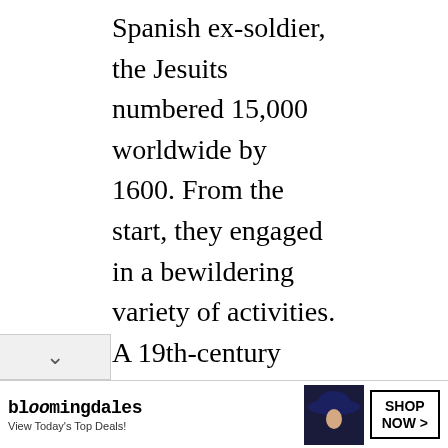Spanish ex-soldier, the Jesuits numbered 15,000 worldwide by 1600. From the start, they engaged in a bewildering variety of activities. A 19th-century Spanish author comments: "we cannot travel the most distant countries, traverse unknown seas, visit the remote lands, or penetrate the most frightful deserts without finding everywhere under our feet some memorial of the Jesuits."
Whether their work is teaching, the missions, diplomacy, or writing (to name
[Figure (other): Bloomingdale's advertisement banner. Shows logo 'bloomingdales', tagline 'View Today's Top Deals!', image of woman in large hat, and 'SHOP NOW >' button.]